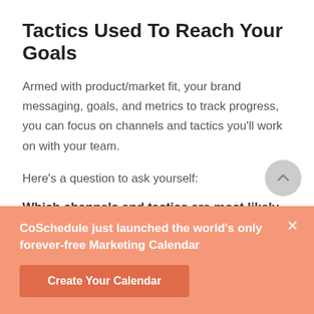Tactics Used To Reach Your Goals
Armed with product/market fit, your brand messaging, goals, and metrics to track progress, you can focus on channels and tactics you'll work on with your team.
Here's a question to ask yourself:
Which channels and tactics are most likely to help you influence the goal you're working towards? Which of them can you realistically
CoSchedule just launched the world's only forever-free Marketing Calendar
Create Your Calendar